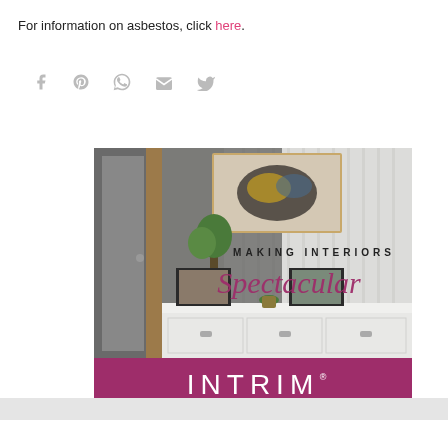For information on asbestos, click here.
[Figure (other): Social media share icons: Facebook, Pinterest, WhatsApp, Email, Twitter]
[Figure (photo): INTRIM advertisement showing interior design with white console table, artwork, plant, and framed photos. Text reads MAKING INTERIORS Spectacular. INTRIM logo on pink/magenta bar at bottom.]